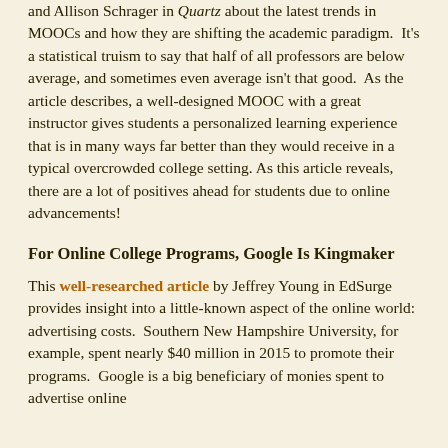and Allison Schrager in Quartz about the latest trends in MOOCs and how they are shifting the academic paradigm.  It's a statistical truism to say that half of all professors are below average, and sometimes even average isn't that good.  As the article describes, a well-designed MOOC with a great instructor gives students a personalized learning experience that is in many ways far better than they would receive in a typical overcrowded college setting. As this article reveals, there are a lot of positives ahead for students due to online advancements!
For Online College Programs, Google Is Kingmaker
This well-researched article by Jeffrey Young in EdSurge provides insight into a little-known aspect of the online world: advertising costs.  Southern New Hampshire University, for example, spent nearly $40 million in 2015 to promote their programs.  Google is a big beneficiary of monies spent to advertise online